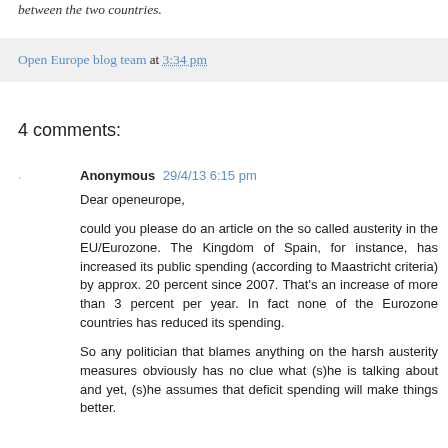between the two countries.
Open Europe blog team at 3:34 pm
4 comments:
Anonymous 29/4/13 6:15 pm
Dear openeurope,

could you please do an article on the so called austerity in the EU/Eurozone. The Kingdom of Spain, for instance, has increased its public spending (according to Maastricht criteria) by approx. 20 percent since 2007. That's an increase of more than 3 percent per year. In fact none of the Eurozone countries has reduced its spending.

So any politician that blames anything on the harsh austerity measures obviously has no clue what (s)he is talking about and yet, (s)he assumes that deficit spending will make things better.